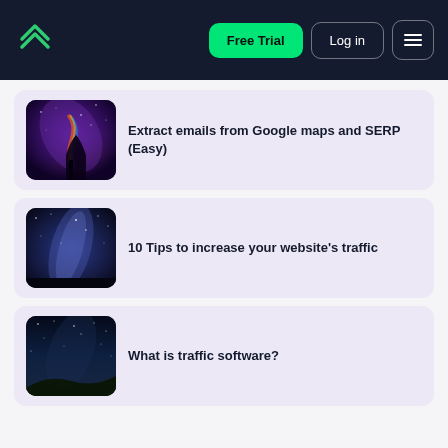[Figure (screenshot): Navigation bar with logo, Free Trial button, Log in button, and hamburger menu on dark navy background]
Extract emails from Google maps and SERP (Easy)
10 Tips to increase your website's traffic
What is traffic software?